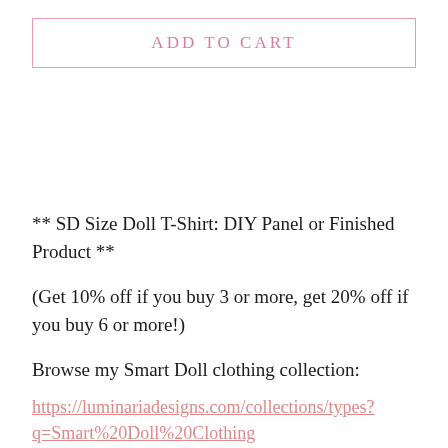ADD TO CART
** SD Size Doll T-Shirt: DIY Panel or Finished Product **
(Get 10% off if you buy 3 or more, get 20% off if you buy 6 or more!)
Browse my Smart Doll clothing collection:
https://luminariadesigns.com/collections/types?q=Smart%20Doll%20Clothing
You have two different choices in this listing: